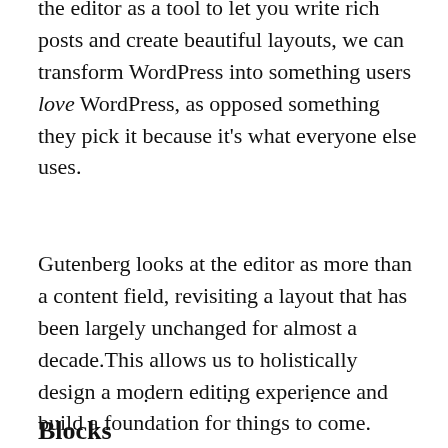the editor as a tool to let you write rich posts and create beautiful layouts, we can transform WordPress into something users love WordPress, as opposed something they pick it because it's what everyone else uses.
Gutenberg looks at the editor as more than a content field, revisiting a layout that has been largely unchanged for almost a decade.This allows us to holistically design a modern editing experience and build a foundation for things to come.
. . .
Blocks